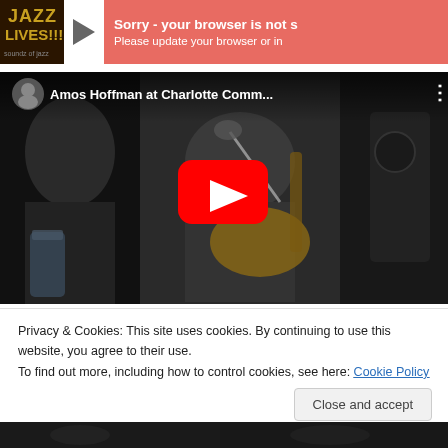[Figure (screenshot): Audio player bar with Jazz Lives thumbnail, play button triangle, and pink/red error box saying 'Sorry - your browser is not s' and 'Please update your browser or in']
[Figure (screenshot): YouTube video embed showing 'Amos Hoffman at Charlotte Comm...' with a musician playing guitar, red YouTube play button overlay]
Privacy & Cookies: This site uses cookies. By continuing to use this website, you agree to their use.
To find out more, including how to control cookies, see here: Cookie Policy
Close and accept
[Figure (photo): Bottom strip showing partial view of another image, dark background with some musical content]